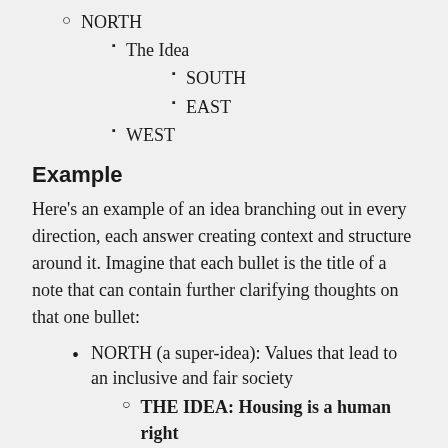NORTH
The Idea
SOUTH
EAST
WEST
Example
Here's an example of an idea branching out in every direction, each answer creating context and structure around it. Imagine that each bullet is the title of a note that can contain further clarifying thoughts on that one bullet:
NORTH (a super-idea): Values that lead to an inclusive and fair society
THE IDEA: Housing is a human right